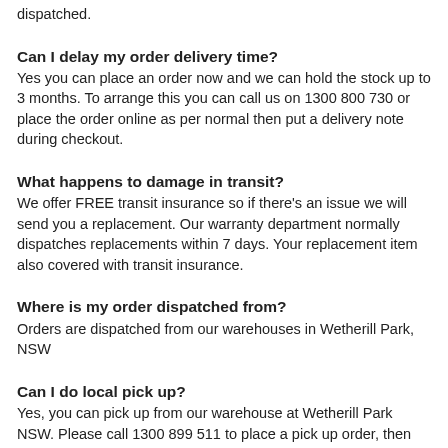dispatched.
Can I delay my order delivery time?
Yes you can place an order now and we can hold the stock up to 3 months. To arrange this you can call us on 1300 800 730 or place the order online as per normal then put a delivery note during checkout.
What happens to damage in transit?
We offer FREE transit insurance so if there's an issue we will send you a replacement. Our warranty department normally dispatches replacements within 7 days. Your replacement item also covered with transit insurance.
Where is my order dispatched from?
Orders are dispatched from our warehouses in Wetherill Park, NSW
Can I do local pick up?
Yes, you can pick up from our warehouse at Wetherill Park NSW. Please call 1300 899 511 to place a pick up order, then bring your receipt for collection at our warehouse.